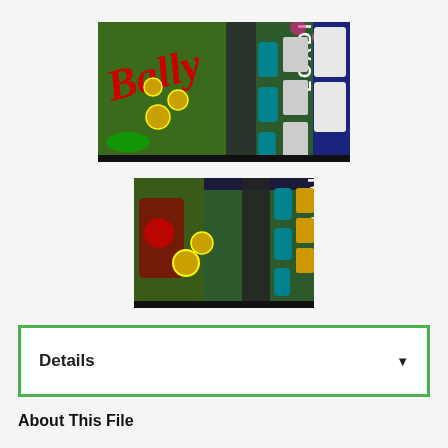[Figure (screenshot): Pinball game screenshot showing a loading screen with 'Bally' logo in red script and 'LOADING' text vertically across the playfield, wider view]
[Figure (screenshot): Pinball game screenshot showing a loading screen with 'LOADING' text vertically across the playfield, zoomed/cropped closer view]
Details
About This File